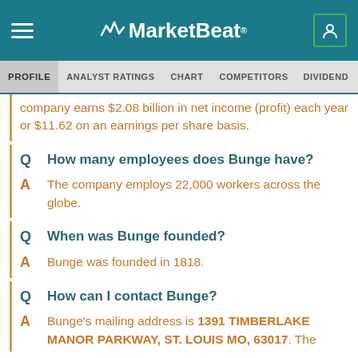MarketBeat
PROFILE  ANALYST RATINGS  CHART  COMPETITORS  DIVIDEND  EARNINGS
company earns $2.08 billion in net income (profit) each year or $11.62 on an earnings per share basis.
Q  How many employees does Bunge have?
A  The company employs 22,000 workers across the globe.
Q  When was Bunge founded?
A  Bunge was founded in 1818.
Q  How can I contact Bunge?
A  Bunge's mailing address is 1391 TIMBERLAKE MANOR PARKWAY, ST. LOUIS MO, 63017. The